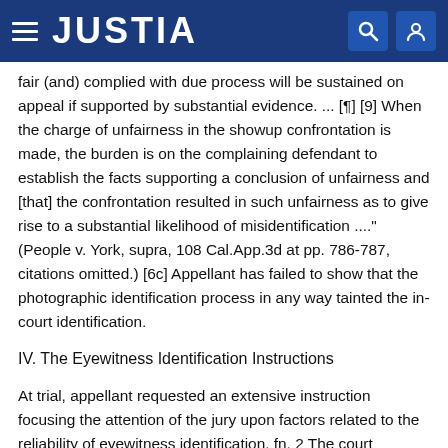JUSTIA
fair (and) complied with due process will be sustained on appeal if supported by substantial evidence. ... [¶] [9] When the charge of unfairness in the showup confrontation is made, the burden is on the complaining defendant to establish the facts supporting a conclusion of unfairness and [that] the confrontation resulted in such unfairness as to give rise to a substantial likelihood of misidentification ...." (People v. York, supra, 108 Cal.App.3d at pp. 786-787, citations omitted.) [6c] Appellant has failed to show that the photographic identification process in any way tainted the in-court identification.
IV. The Eyewitness Identification Instructions
At trial, appellant requested an extensive instruction focusing the attention of the jury upon factors related to the reliability of eyewitness identification. fn. 2 The court